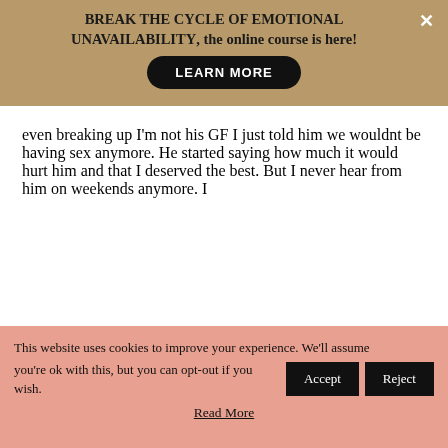BREAK THE CYCLE OF EMOTIONAL UNAVAILABILITY, the online course is here!
even breaking up I'm not his GF I just told him we wouldnt be having sex anymore. He started saying how much it would hurt him and that I deserved the best. But I never hear from him on weekends anymore. I
This website uses cookies to improve your experience. We'll assume you're ok with this, but you can opt-out if you wish.
Read More